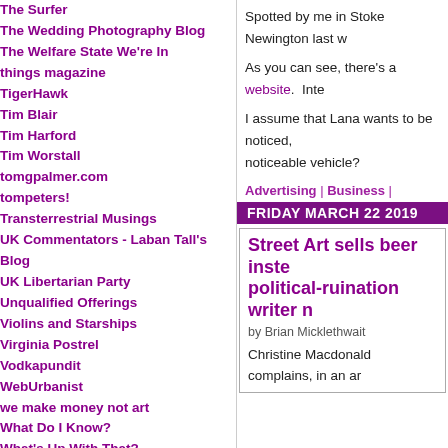The Surfer
The Wedding Photography Blog
The Welfare State We're In
things magazine
TigerHawk
Tim Blair
Tim Harford
Tim Worstall
tomgpalmer.com
tompeters!
Transterrestrial Musings
UK Commentators - Laban Tall's Blog
UK Libertarian Party
Unqualified Offerings
Violins and Starships
Virginia Postrel
Vodkapundit
WebUrbanist
we make money not art
What Do I Know?
What's Up With That?
Where the grass is greener
White Sun of the Desert
Why Evolution Is True
Your Freedom and Ours
Websites
Spotted by me in Stoke Newington last w
As you can see, there's a website.  Inte
I assume that Lana wants to be noticed, noticeable vehicle?
Advertising | Business | Healthcare | London
FRIDAY MARCH 22 2019
Street Art sells beer inste political-ruination writer n
by Brian Micklethwait
Christine Macdonald complains, in an ar